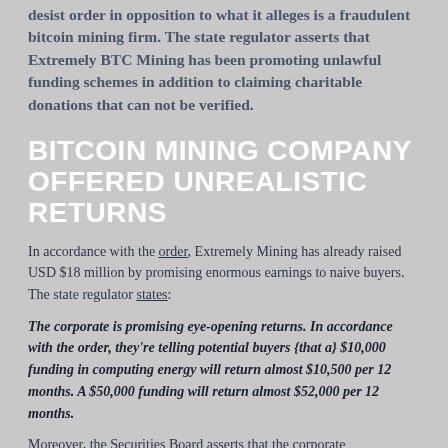desist order in opposition to what it alleges is a fraudulent bitcoin mining firm. The state regulator asserts that Extremely BTC Mining has been promoting unlawful funding schemes in addition to claiming charitable donations that can not be verified.
BITCOIN MINING COMPANY OFFERED UNREALISTIC RETURNS
In accordance with the order, Extremely Mining has already raised USD $18 million by promising enormous earnings to naive buyers. The state regulator states:
The corporate is promising eye-opening returns. In accordance with the order, they're telling potential buyers {that a} $10,000 funding in computing energy will return almost $10,500 per 12 months. A $50,000 funding will return almost $52,000 per 12 months.
Moreover, the Securities Board asserts that the corporate